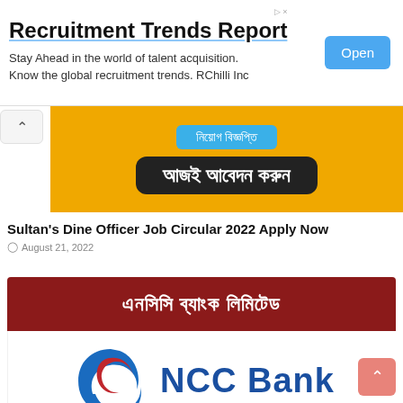[Figure (infographic): Advertisement banner: Recruitment Trends Report with Open button. Text: Stay Ahead in the world of talent acquisition. Know the global recruitment trends. RChilli Inc]
[Figure (infographic): Bengali job circular image with orange background, blue button with Bengali text (নিয়োগ বিজ্ঞপ্তি), and black pill button with Bengali text (আজই আবেদন করুন)]
Sultan's Dine Officer Job Circular 2022 Apply Now
August 21, 2022
[Figure (logo): NCC Bank Limited banner: dark red banner with Bengali text (এনসিসি ব্যাংক লিমিটেড), NCC Bank logo with blue/red swirl icon and NCC Bank text in blue, and partial bottom banner with Bengali text in red]
[Figure (logo): Scroll-up arrow button (pink/salmon color) at bottom right]